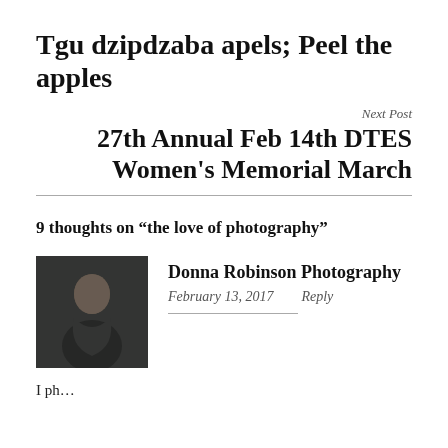Tgu dzipdzaba apels; Peel the apples
Next Post
27th Annual Feb 14th DTES Women's Memorial March
9 thoughts on “the love of photography”
Donna Robinson Photography
February 13, 2017   Reply
I ph...